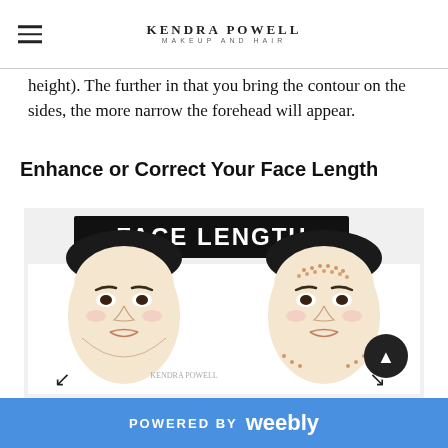KENDRA POWELL MAKEUP AND HAIR
height). The further in that you bring the contour on the sides, the more narrow the forehead will appear.
Enhance or Correct Your Face Length
[Figure (illustration): Illustration labeled 'FACE LENGTH' showing two illustrated female faces side by side — left face without contouring, right face with contouring dots marked on forehead and jawline. Watermark: KENDRA POWELL. A circular arrow button appears at bottom right. Arrows show contouring direction at chin.]
POWERED BY weebly